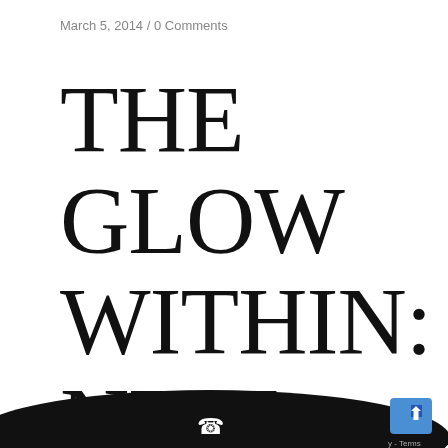March 5, 2014  /  0 Comments
THE GLOW WITHIN: NEW JERSEY
[Figure (other): Black elliptical bar at bottom of page with a white phone icon in the center, and a blue map/navigation icon in the bottom right corner with 'y - Terms' text label]